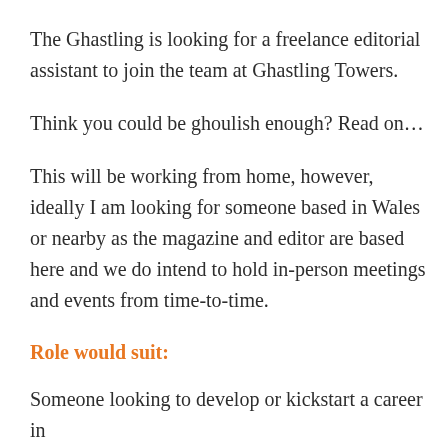The Ghastling is looking for a freelance editorial assistant to join the team at Ghastling Towers.
Think you could be ghoulish enough? Read on…
This will be working from home, however, ideally I am looking for someone based in Wales or nearby as the magazine and editor are based here and we do intend to hold in-person meetings and events from time-to-time.
Role would suit:
Someone looking to develop or kickstart a career in